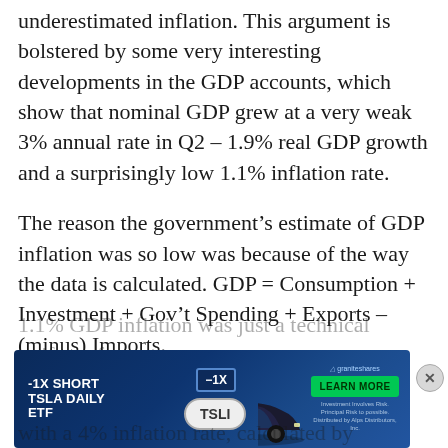underestimated inflation. This argument is bolstered by some very interesting developments in the GDP accounts, which show that nominal GDP grew at a very weak 3% annual rate in Q2 – 1.9% real GDP growth and a surprisingly low 1.1% inflation rate.
The reason the government's estimate of GDP inflation was so low was because of the way the data is calculated. GDP = Consumption + Investment + Gov't Spending + Exports – (minus) Imports.
So, the argument goes, the absurdly low 1.1% GDP inflation was just a technical artifact of ... with a 4% inflation rate, calculated by
[Figure (other): Advertisement banner for -1X SHORT TSLA DAILY ETF (ticker: TSLI) by GraniteShares, showing a Tesla car image with a Learn More button]